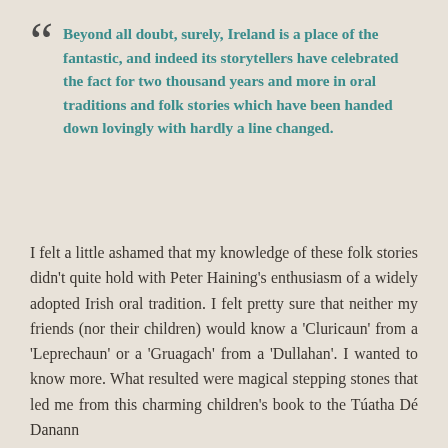Beyond all doubt, surely, Ireland is a place of the fantastic, and indeed its storytellers have celebrated the fact for two thousand years and more in oral traditions and folk stories which have been handed down lovingly with hardly a line changed.
I felt a little ashamed that my knowledge of these folk stories didn’t quite hold with Peter Haining’s enthusiasm of a widely adopted Irish oral tradition. I felt pretty sure that neither my friends (nor their children) would know a ‘Cluricaun’ from a ‘Leprechaun’ or a ‘Gruagach’ from a ‘Dullahan’. I wanted to know more. What resulted were magical stepping stones that led me from this charming children’s book to the Túatha Dé Danann